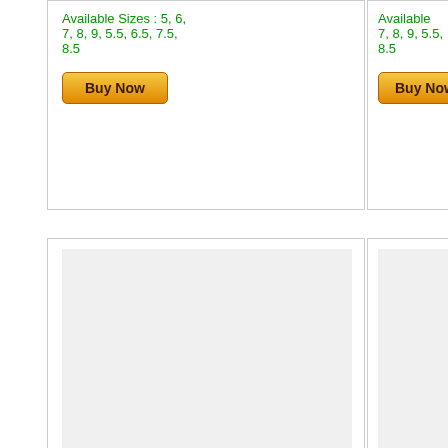Available Sizes : 5, 6, 7, 8, 9, 5.5, 6.5, 7.5, 8.5
[Figure (other): Buy Now button (orange gradient)]
Available Sizes : 7, 8, 9, 5.5, 8.5
[Figure (other): Buy Now button (orange gradient) - partial]
[Mouse Over to Zoom]
[Mouse Ov...]
Stainless Steel Domed 8mm Wedding Band...
Surgical S... Steel 8mm... Wedding B...
SKU: RSS144
SKU: RSS...
Item Price : $14.95
Original Price : $20.00
Item Pric...
Original Pri...
Available Sizes : 9, 10, 11, 12, 13, 14, 9.5, 10.5, 11.5, 12.5, 13.5
Available 9, 10, 11, ...